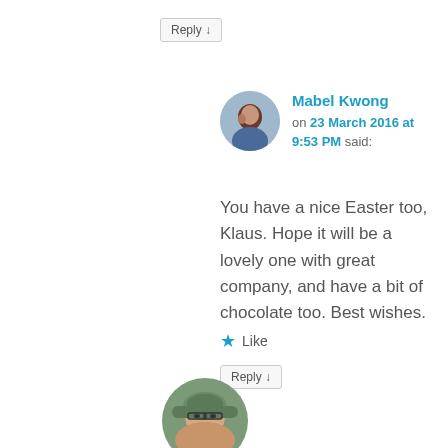Reply ↓
Mabel Kwong on 23 March 2016 at 9:53 PM said:
You have a nice Easter too, Klaus. Hope it will be a lovely one with great company, and have a bit of chocolate too. Best wishes.
★ Like
Reply ↓
[Figure (photo): Woman with green hat and glasses, circular avatar photo]